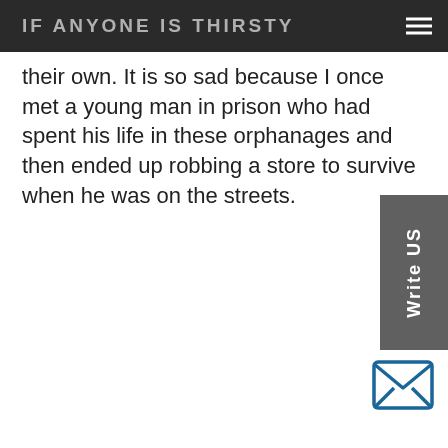IF ANYONE IS THIRSTY
their own. It is so sad because I once met a young man in prison who had spent his life in these orphanages and then ended up robbing a store to survive when he was on the streets.
[Figure (other): Write US vertical tab button on right side]
[Figure (other): Envelope/mail icon]